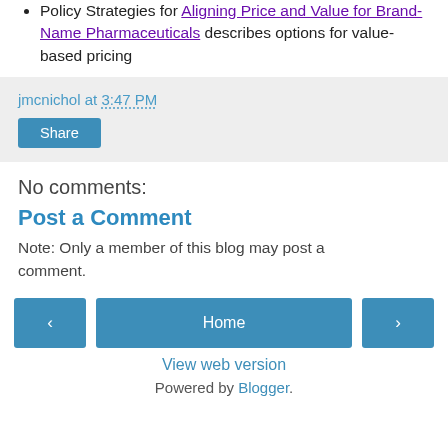Policy Strategies for Aligning Price and Value for Brand-Name Pharmaceuticals describes options for value-based pricing
jmcnichol at 3:47 PM
Share
No comments:
Post a Comment
Note: Only a member of this blog may post a comment.
Home
View web version
Powered by Blogger.